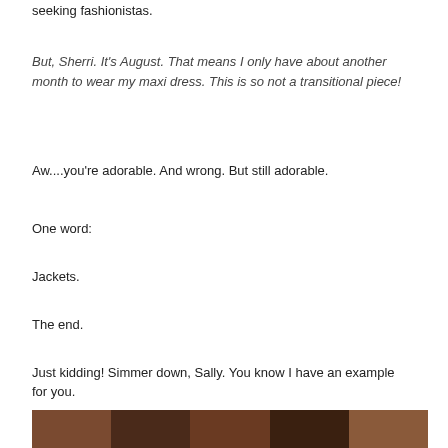seeking fashionistas.
But, Sherri.  It's August.  That means I only have about another month to wear my maxi dress.  This is so not a transitional piece!
Aw....you're adorable.  And wrong.  But still adorable.
One word:
Jackets.
The end.
Just kidding!  Simmer down, Sally.  You know I have an example for you.
[Figure (photo): A horizontal strip of a photo at the bottom of the page, showing people or fashion content, partially cropped.]